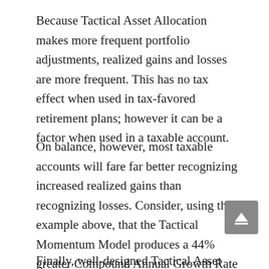Because Tactical Asset Allocation makes more frequent portfolio adjustments, realized gains and losses are more frequent. This has no tax effect when used in tax-favored retirement plans; however it can be a factor when used in a taxable account.
On balance, however, most taxable accounts will fare far better recognizing increased realized gains than recognizing losses. Consider, using the example above, that the Tactical Momentum Model produces a 44% greater Compound Annual Growth Rate compared to Vanguard Balanced.
Finally, well-designed Tactical Asset